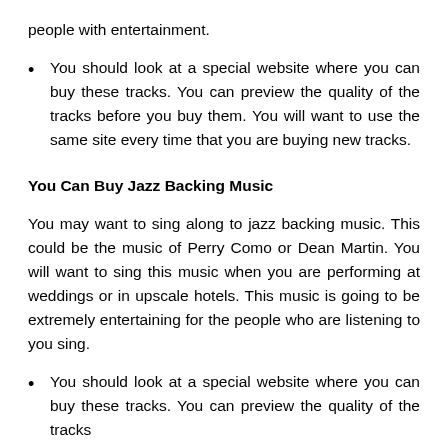people with entertainment.
You should look at a special website where you can buy these tracks. You can preview the quality of the tracks before you buy them. You will want to use the same site every time that you are buying new tracks.
You Can Buy Jazz Backing Music
You may want to sing along to jazz backing music. This could be the music of Perry Como or Dean Martin. You will want to sing this music when you are performing at weddings or in upscale hotels. This music is going to be extremely entertaining for the people who are listening to you sing.
You should look at a special website where you can buy these tracks. You can preview the quality of the tracks